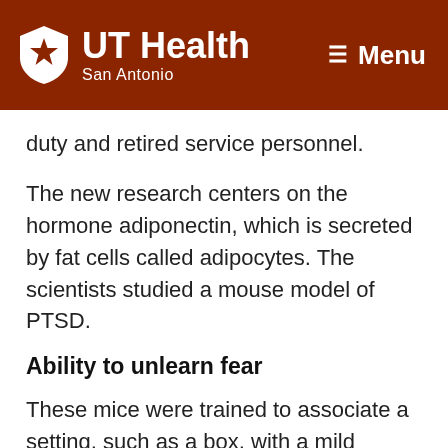UT Health San Antonio — Menu
duty and retired service personnel.
The new research centers on the hormone adiponectin, which is secreted by fat cells called adipocytes. The scientists studied a mouse model of PTSD.
Ability to unlearn fear
These mice were trained to associate a setting, such as a box, with a mild unpleasant stimulus. As expected, they showed a fear response when re-exposed to the setting.